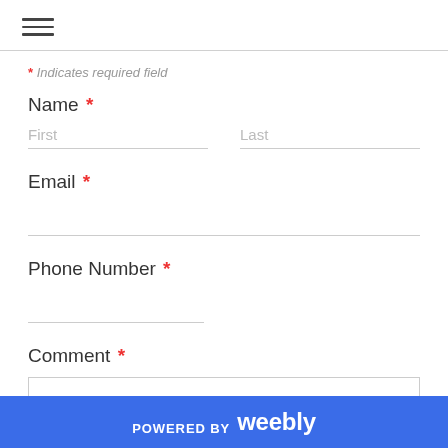≡
* Indicates required field
Name *
First   Last
Email *
Phone Number *
Comment *
POWERED BY weebly